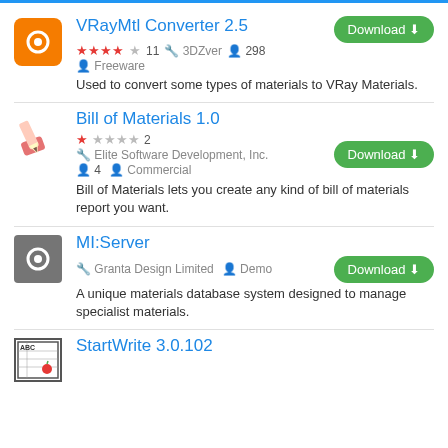VRayMtl Converter 2.5 — Rating: 4/5 stars, 11 reviews, developer: 3DZver, users: 298, Freeware. Used to convert some types of materials to VRay Materials.
Bill of Materials 1.0 — Rating: 1/5 stars, 2 reviews, developer: Elite Software Development, Inc., users: 4, Commercial. Bill of Materials lets you create any kind of bill of materials report you want.
MI:Server — developer: Granta Design Limited, Demo. A unique materials database system designed to manage specialist materials.
StartWrite 3.0.102